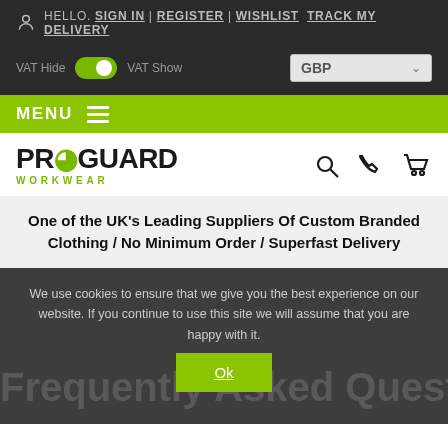HELLO. SIGN IN | REGISTER | WISHLIST TRACK MY DELIVERY
VAT Hide  VAT Show  GBP
MENU
[Figure (logo): Proguard Workwear logo with search, phone and cart icons]
One of the UK's Leading Suppliers Of Custom Branded Clothing / No Minimum Order / Superfast Delivery
We use cookies to ensure that we give you the best experience on our website. If you continue to use this site we will assume that you are happy with it.
Frequently Asked Questions
Ok